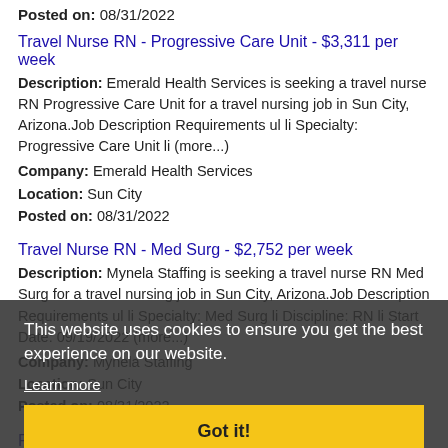Posted on: 08/31/2022
Travel Nurse RN - Progressive Care Unit - $3,311 per week
Description: Emerald Health Services is seeking a travel nurse RN Progressive Care Unit for a travel nursing job in Sun City, Arizona.Job Description Requirements ul li Specialty: Progressive Care Unit li (more...)
Company: Emerald Health Services
Location: Sun City
Posted on: 08/31/2022
Travel Nurse RN - Med Surg - $2,752 per week
Description: Mynela Staffing is seeking a travel nurse RN Med Surg for a travel nursing job in Sun City, Arizona.Job Description Requirements ul li Specialty: Med Surg li Discipline: RN li Start Date: 09/19/2022 (more...)
Company: Mynela Staffing
Location: Sun City
Posted on: 08/31/2022
RN - ICU
Description: Pay Rate br br 2,828 weekly br br Our client in Prescott Valley AZ has travel nursing position for an RN with current ICU experience. The ideal candidate must have at least 2
This website uses cookies to ensure you get the best experience on our website. Learn more Got it!